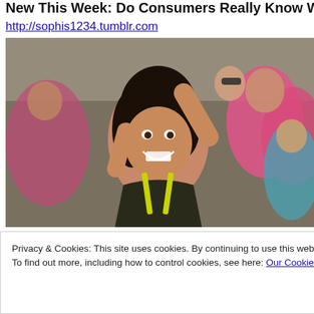New This Week: Do Consumers Really Know What They W
http://sophis1234.tumblr.com
[Figure (photo): A woman with dark hair laughing with arms raised in a crowd at an outdoor event, wearing a dark athletic top. People in pink tops visible in background.]
Privacy & Cookies: This site uses cookies. By continuing to use this website, you agree to their use.
To find out more, including how to control cookies, see here: Our Cookie Policy
Close and accept
Why Don't You Use Mobile Now? http://goo.gl/wlnJ8o